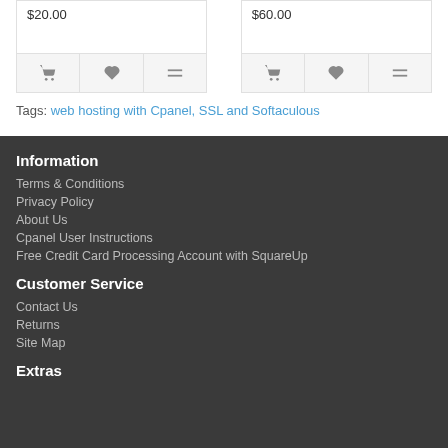$20.00
$60.00
Tags: web hosting with Cpanel, SSL and Softaculous
Information
Terms & Conditions
Privacy Policy
About Us
Cpanel User Instructions
Free Credit Card Processing Account with SquareUp
Customer Service
Contact Us
Returns
Site Map
Extras